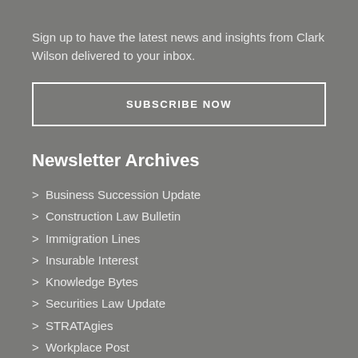Sign up to have the latest news and insights from Clark Wilson delivered to your inbox.
SUBSCRIBE NOW
Newsletter Archives
> Business Succession Update
> Construction Law Bulletin
> Immigration Lines
> Insurable Interest
> Knowledge Bytes
> Securities Law Update
> STRATAgies
> Workplace Post
> Your Estate Matters